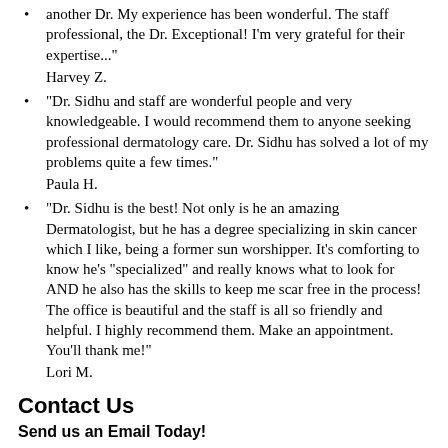another Dr. My experience has been wonderful. The staff professional, the Dr. Exceptional! I'm very grateful for their expertise..." Harvey Z.
"Dr. Sidhu and staff are wonderful people and very knowledgeable. I would recommend them to anyone seeking professional dermatology care. Dr. Sidhu has solved a lot of my problems quite a few times." Paula H.
"Dr. Sidhu is the best! Not only is he an amazing Dermatologist, but he has a degree specializing in skin cancer which I like, being a former sun worshipper. It's comforting to know he's "specialized" and really knows what to look for AND he also has the skills to keep me scar free in the process! The office is beautiful and the staff is all so friendly and helpful. I highly recommend them. Make an appointment. You'll thank me!" Lori M.
Contact Us
Send us an Email Today!
Our Locations